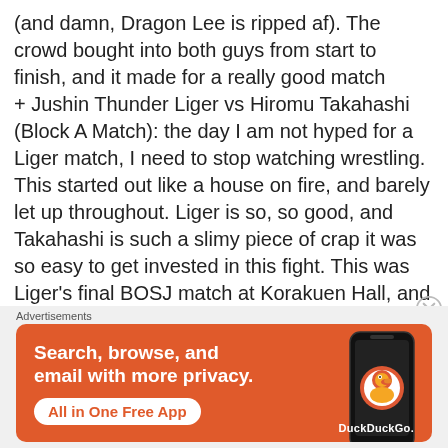(and damn, Dragon Lee is ripped af). The crowd bought into both guys from start to finish, and it made for a really good match
+ Jushin Thunder Liger vs Hiromu Takahashi (Block A Match): the day I am not hyped for a Liger match, I need to stop watching wrestling. This started out like a house on fire, and barely let up throughout. Liger is so, so good, and Takahashi is such a slimy piece of crap it was so easy to get invested in this fight. This was Liger's final BOSJ match at Korakuen Hall, and damn if we won't all miss seeing the three time BOSJ winner here
[Figure (screenshot): DuckDuckGo advertisement banner with orange background. Text reads 'Search, browse, and email with more privacy. All in One Free App' with a phone image and DuckDuckGo logo on the right.]